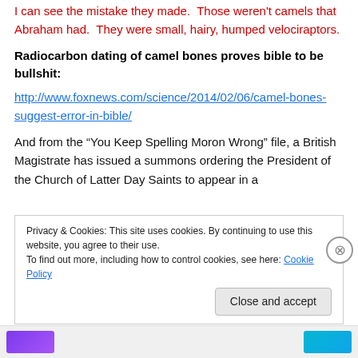I can see the mistake they made.  Those weren't camels that Abraham had.  They were small, hairy, humped velociraptors.
Radiocarbon dating of camel bones proves bible to be bullshit:
http://www.foxnews.com/science/2014/02/06/camel-bones-suggest-error-in-bible/
And from the “You Keep Spelling Moron Wrong” file, a British Magistrate has issued a summons ordering the President of the Church of Latter Day Saints to appear in a
Privacy & Cookies: This site uses cookies. By continuing to use this website, you agree to their use.
To find out more, including how to control cookies, see here: Cookie Policy
Close and accept